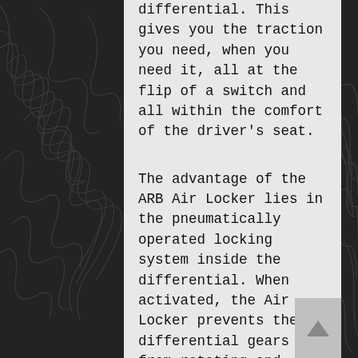differential. This gives you the traction you need, when you need it, all at the flip of a switch and all within the comfort of the driver's seat.
The advantage of the ARB Air Locker lies in the pneumatically operated locking system inside the differential. When activated, the Air Locker prevents the differential gears from rotating and therefore prevents the axle shafts from turning independently of each other. With both wheels tied directly to the rotation of the ring gear, the vehicle maintains maximum possible traction at all times. When unlocked, it operates just like a